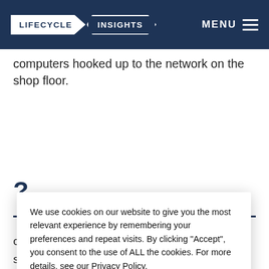LIFECYCLE INSIGHTS MENU
computers hooked up to the network on the shop floor.
?
We use cookies on our website to give you the most relevant experience by remembering your preferences and repeat visits. By clicking “Accept”, you consent to the use of ALL the cookies. For more details, see our Privacy Policy. Read More
ceeded fairly
souting
l. A number of
other organizations have adopted P... and are using